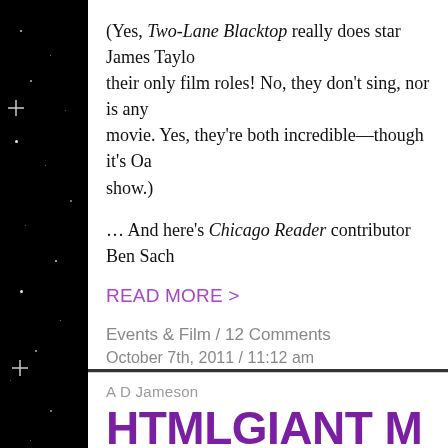(Yes, Two-Lane Blacktop really does star James Taylor and their only film roles! No, they don't sing, nor is any movie. Yes, they're both incredible—though it's Oa show.)
… And here's Chicago Reader contributor Ben Sach
READ MORE >
Events & Film / 12 Comments
October 7th, 2011 / 11:12 am
A D Jameson
HTMLGIANT M "Two-Lane Bla